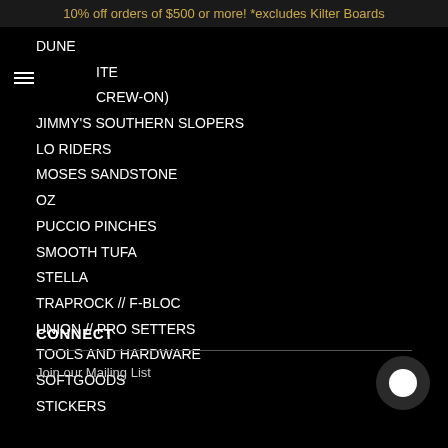10% off orders of $500 or more! *excludes Kilter Boards
DUNE
ITE
CREW-ON)
JIMMY'S SOUTHERN SLOPERS
LO RIDERS
MOSES SANDSTONE
OZ
PUCCIO PINCHES
SMOOTH TUFA
STELLA
TRAPROCK // F-BLOC
UNION // PRO SETTERS
TOOLS AND HARDWARE
SOFTGOODS
STICKERS
CONNECT
Join our Mailing List